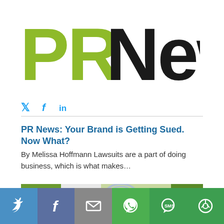[Figure (logo): PR News logo with 'PR' in olive/yellow-green and 'News' in black bold letters]
[Figure (infographic): Social media icons: Twitter bird, Facebook f, LinkedIn in — in blue]
PR News: Your Brand is Getting Sued. Now What?
By Melissa Hoffmann Lawsuits are a part of doing business, which is what makes…
[Figure (photo): Partial photo of green plants and circular decorative elements, partially visible]
[Figure (infographic): Social sharing bar with Twitter, Facebook, Email, WhatsApp, SMS, and Share icons on colored backgrounds]